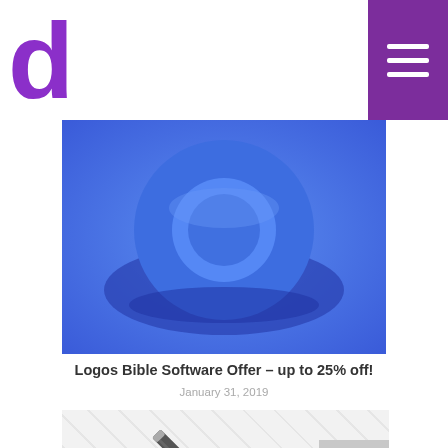[Figure (logo): Purple letter 'd' logo]
[Figure (illustration): Blue background with 3D donut/ring shape in dark blue, hero banner image]
Logos Bible Software Offer – up to 25% off!
January 31, 2019
[Figure (illustration): Light gray section with diagonal watermark pattern and a pencil/edit icon in dark gray]